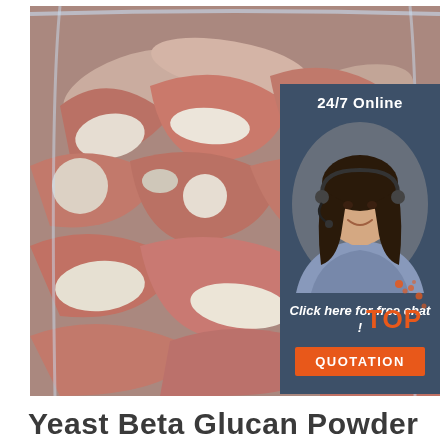[Figure (photo): Close-up photograph of frozen meat bones/cuts packed in clear plastic wrap. Raw meat with bones visible, slightly frosty.]
[Figure (infographic): Dark blue/grey overlay panel in top-right of main image showing '24/7 Online' text, a smiling female customer service agent with headset, 'Click here for free chat!' text, and an orange QUOTATION button. Also has 'TOP' logo with orange dots in the bottom-right corner of the main image area.]
Yeast Beta Glucan Powder